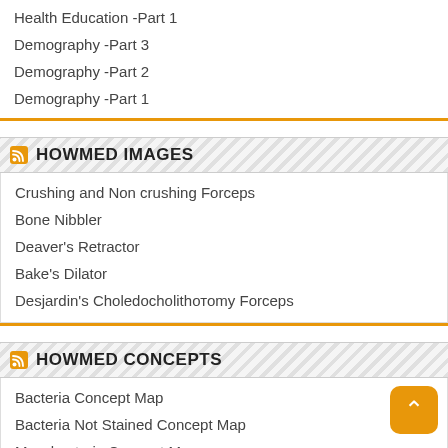Health Education -Part 1
Demography -Part 3
Demography -Part 2
Demography -Part 1
HOWMED IMAGES
Crushing and Non crushing Forceps
Bone Nibbler
Deaver's Retractor
Bake's Dilator
Desjardin's Choledocholithотomy Forceps
HOWMED CONCEPTS
Bacteria Concept Map
Bacteria Not Stained Concept Map
Mycobacteria Concept Map
Gram Negative Rods Concept Map